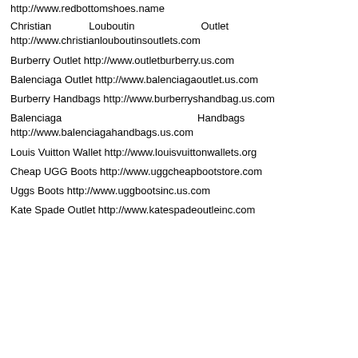http://www.redbottomshoes.name
Christian Louboutin Outlet http://www.christianlouboutinsoutlets.com
Burberry Outlet http://www.outletburberry.us.com
Balenciaga Outlet http://www.balenciagaoutlet.us.com
Burberry Handbags http://www.burberryshandbag.us.com
Balenciaga Handbags http://www.balenciagahandbags.us.com
Louis Vuitton Wallet http://www.louisvuittonwallets.org
Cheap UGG Boots http://www.uggcheapbootstore.com
Uggs Boots http://www.uggbootsinc.us.com
Kate Spade Outlet http://www.katespadeoutleinc.com